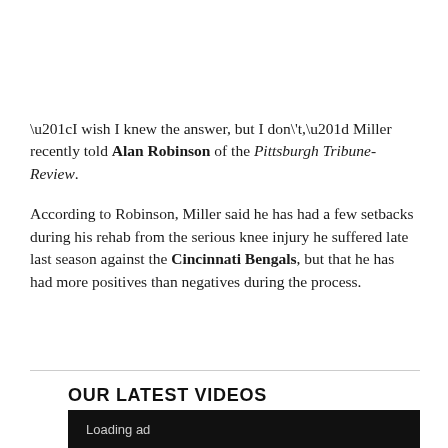“I wish I knew the answer, but I don\'t,” Miller recently told Alan Robinson of the Pittsburgh Tribune-Review.

According to Robinson, Miller said he has had a few setbacks during his rehab from the serious knee injury he suffered late last season against the Cincinnati Bengals, but that he has had more positives than negatives during the process.
OUR LATEST VIDEOS